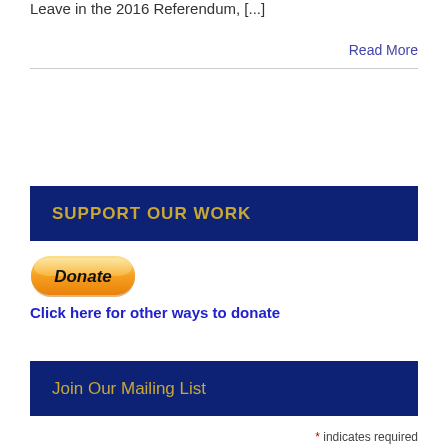Leave in the 2016 Referendum, [...]
Read More
SUPPORT OUR WORK
[Figure (other): PayPal Donate button — a rounded pill-shaped button with a gradient orange/yellow fill and bold italic text reading 'Donate']
Click here for other ways to donate
Join Our Mailing List
* indicates required